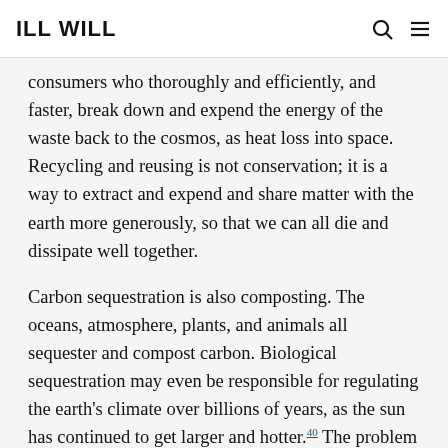ILL WILL
consumers who thoroughly and efficiently, and faster, break down and expend the energy of the waste back to the cosmos, as heat loss into space. Recycling and reusing is not conservation; it is a way to extract and expend and share matter with the earth more generously, so that we can all die and dissipate well together.
Carbon sequestration is also composting. The oceans, atmosphere, plants, and animals all sequester and compost carbon. Biological sequestration may even be responsible for regulating the earth's climate over billions of years, as the sun has continued to get larger and hotter.40 The problem is that the fossil-fuel-using